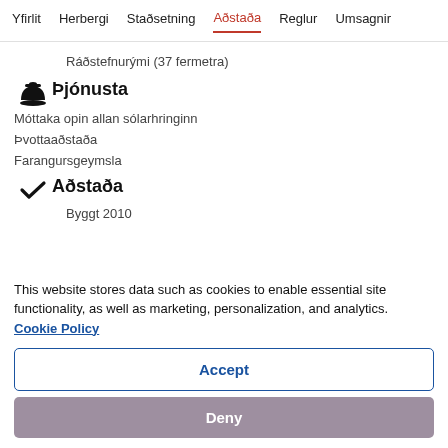Yfirlit  Herbergi  Staðsetning  Aðstaða  Reglur  Umsagnir
Ráðstefnurými (37 fermetra)
Þjónusta
Móttaka opin allan sólarhringinn
Þvottaaðstaða
Farangursgeymsla
Aðstaða
Byggt 2010
This website stores data such as cookies to enable essential site functionality, as well as marketing, personalization, and analytics. Cookie Policy
Accept
Deny